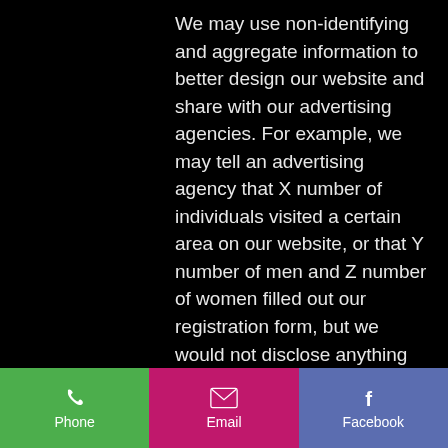We may use non-identifying and aggregate information to better design our website and share with our advertising agencies. For example, we may tell an advertising agency that X number of individuals visited a certain area on our website, or that Y number of men and Z number of women filled out our registration form, but we would not disclose anything that could be used to personally identify those individuals.
If you choose to register or receive products or materials from us, or to
Phone | Email | Facebook